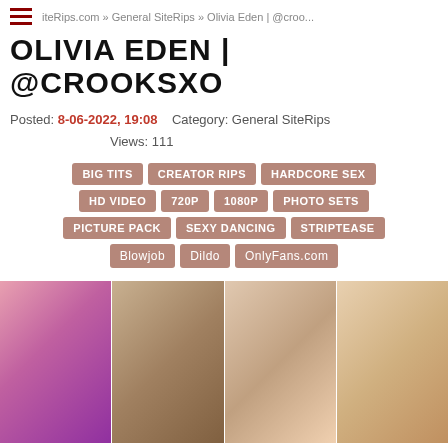iteRips.com » General SiteRips » Olivia Eden | @croo...
OLIVIA EDEN | @CROOKSXO
Posted: 8-06-2022, 19:08    Category: General SiteRips    Views: 111
BIG TITS | CREATOR RIPS | HARDCORE SEX | HD VIDEO | 720P | 1080P | PHOTO SETS | PICTURE PACK | SEXY DANCING | STRIPTEASE | Blowjob | Dildo | OnlyFans.com
[Figure (photo): Four thumbnail photos of a woman]